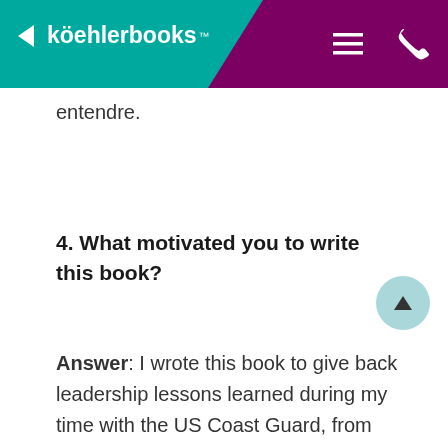köehlerbooks™
entendre.
4. What motivated you to write this book?
Answer: I wrote this book to give back leadership lessons learned during my time with the US Coast Guard, from